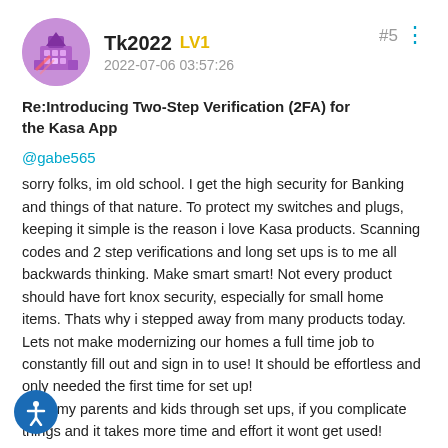Tk2022 LV1 | 2022-07-06 03:57:26 | #5
Re:Introducing Two-Step Verification (2FA) for the Kasa App
@gabe565
sorry folks, im old school. I get the high security for Banking and things of that nature. To protect my switches and plugs, keeping it simple is the reason i love Kasa products. Scanning codes and 2 step verifications and long set ups is to me all backwards thinking. Make smart smart! Not every product should have fort knox security, especially for small home items. Thats why i stepped away from many products today. Lets not make modernizing our homes a full time job to constantly fill out and sign in to use! It should be effortless and only needed the first time for set up!
I talk my parents and kids through set ups, if you complicate things and it takes more time and effort it wont get used! The more it seems today we upgrade the less reliable things become. This is a huge problem now! KISS KEEP IT SIMPLE STUPID!